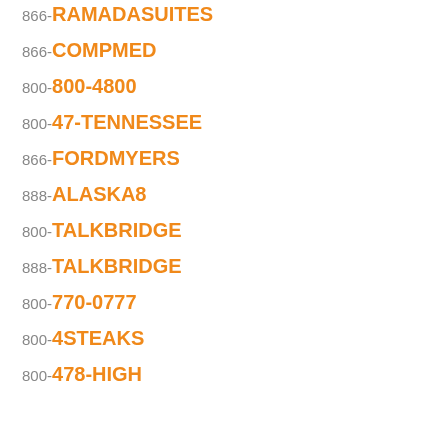866-RAMADASUITES
866-COMPMED
800-800-4800
800-47-TENNESSEE
866-FORDMYERS
888-ALASKA8
800-TALKBRIDGE
888-TALKBRIDGE
800-770-0777
800-4STEAKS
800-478-HIGH